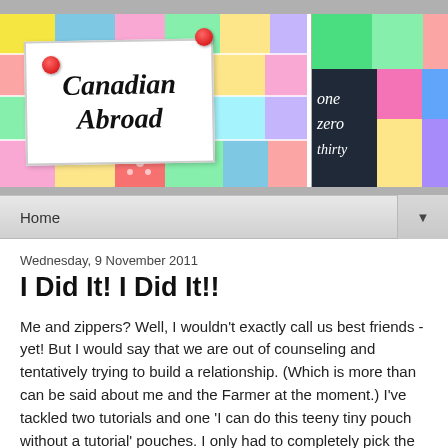[Figure (photo): Blog header banner showing a collage of colorful quilts and sewing projects. Left panel shows patchwork quilt squares in bright colors. Middle panel shows a quilt with handwritten text reading 'one zero thirty'. Right panel shows a blue and white quilted piece. A 'Canadian Abroad' logo card is pinned with red pins over the main quilt image.]
Home
Wednesday, 9 November 2011
I Did It! I Did It!!
Me and zippers? Well, I wouldn't exactly call us best friends - yet! But I would say that we are out of counseling and tentatively trying to build a relationship. (Which is more than can be said about me and the Farmer at the moment.) I've tackled two tutorials and one 'I can do this teeny tiny pouch without a tutorial' pouches. I only had to completely pick the